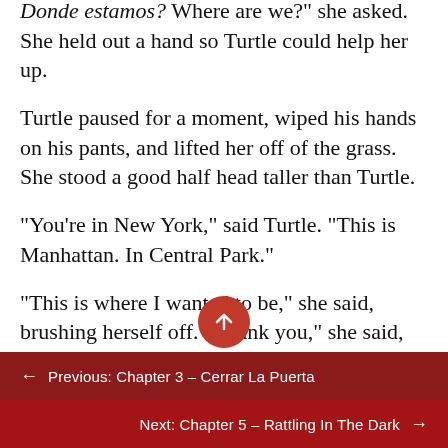“Donde estamos? Where are we?” she asked. She held out a hand so Turtle could help her up.
Turtle paused for a moment, wiped his hands on his pants, and lifted her off of the grass. She stood a good half head taller than Turtle.
“You’re in New York,” said Turtle. “This is Manhattan. In Central Park.”
“This is where I wanted to be,” she said, brushing herself off. “Thank you,” she said, with a hint of an accent. She smelled like some kind of flower, a rose and jasmine scent that Turtle could recognize from somewhere but couldn’t
← Previous: Chapter 3 – Cerrar La Puerta
Next: Chapter 5 – Rattling In The Dark →